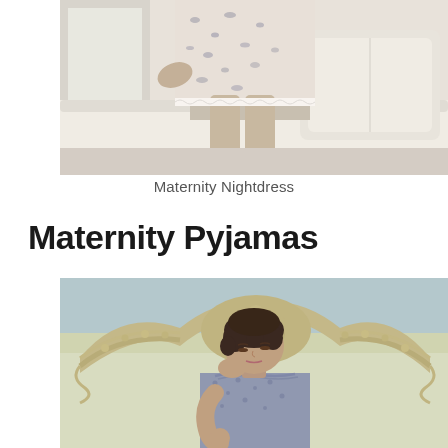[Figure (photo): Photo of woman wearing a maternity nightdress with floral/animal print pattern, sitting on a light-colored sofa with white cushions, showing legs and lower body]
Maternity Nightdress
Maternity Pyjamas
[Figure (photo): Photo of a woman with short dark hair wearing a blue spotted/textured maternity pyjama top, sitting in front of an ornate cream/gold decorative bed headboard with rose carvings, against a light blue-grey wall]